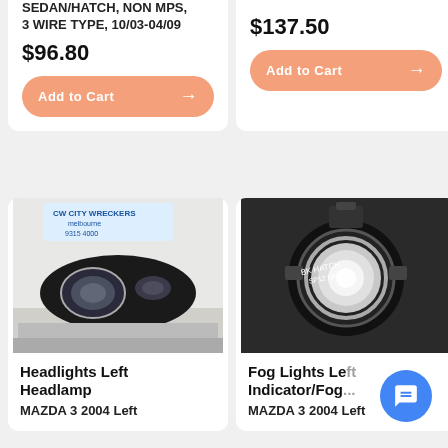SEDAN/HATCH, NON MPS, 3 WIRE TYPE, 10/03-04/09
$96.80
Add to Cart
$137.50
Add to Cart
[Figure (photo): Mazda 3 headlight assembly (left headlamp), City Wreckers Melbourne 9315 4000 label visible]
[Figure (photo): Mazda 3 fog light / indicator fog light assembly, left side, with handwritten label BK HATCH SP12 GH5]
Headlights Left Headlamp
MAZDA 3 2004 Left
Fog Lights Left Indicator/Fog
MAZDA 3 2004 Left